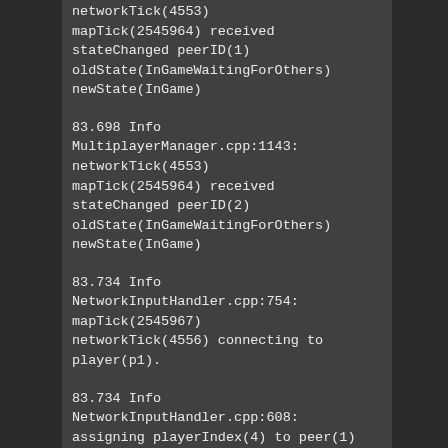networkTick(4553) mapTick(2545964) received stateChanged peerID(1) oldState(InGameWaitingForOthers) newState(InGame)
83.698 Info MultiplayerManager.cpp:1143: networkTick(4553) mapTick(2545964) received stateChanged peerID(2) oldState(InGameWaitingForOthers) newState(InGame)
83.734 Info NetworkInputHandler.cpp:754: mapTick(2545967) networkTick(4556) connecting to player(p1).
83.734 Info NetworkInputHandler.cpp:608: assigning playerIndex(4) to peer(1)